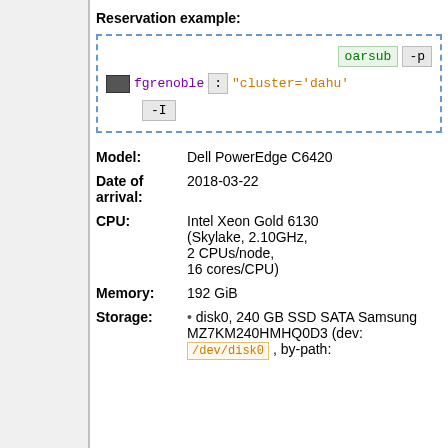Reservation example:
[Figure (screenshot): Code box showing terminal command: oarsub -p fgrenoble : "cluster='dahu'" -I]
| Field | Value |
| --- | --- |
| Model: | Dell PowerEdge C6420 |
| Date of arrival: | 2018-03-22 |
| CPU: | Intel Xeon Gold 6130 (Skylake, 2.10GHz, 2 CPUs/node, 16 cores/CPU) |
| Memory: | 192 GiB |
| Storage: | disk0, 240 GB SSD SATA Samsung MZ7KM240HMHQ0D3 (dev: /dev/disk0 , by-path: |